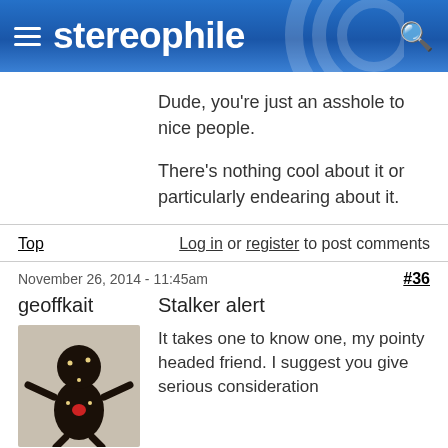stereophile
Dude, you're just an asshole to nice people.

There's nothing cool about it or particularly endearing about it.
Top   Log in or register to post comments
November 26, 2014 - 11:45am   #36
geoffkait
Stalker alert
[Figure (photo): Avatar image of a dark voodoo doll figure]
It takes one to know one, my pointy headed friend. I suggest you give serious consideration